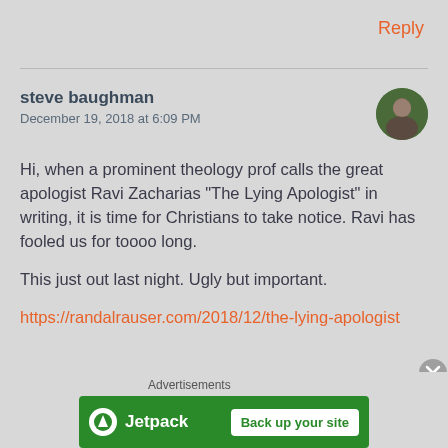Reply
steve baughman
December 19, 2018 at 6:09 PM
Hi, when a prominent theology prof calls the great apologist Ravi Zacharias “The Lying Apologist” in writing, it is time for Christians to take notice. Ravi has fooled us for toooo long.

This just out last night. Ugly but important.

https://randalrauser.com/2018/12/the-lying-apologist
[Figure (screenshot): Jetpack advertisement banner with logo and 'Back up your site' button on green background]